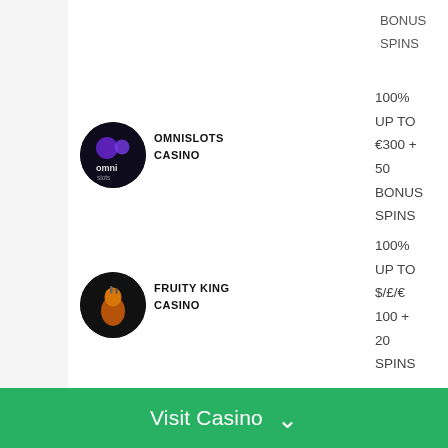BONUS SPINS
[Figure (logo): Omnislots Casino logo - dark circle with purple/white graphic]
OMNISLOTS CASINO
100% UP TO €300 + 50 BONUS SPINS
REVIEW
PLAY NO
[Figure (logo): Fruity King Casino logo - dark circle with llama/alpaca graphic]
FRUITY KING CASINO
100% UP TO $/£/€ 100 + 20 SPINS
REVIEW
PLAY NO
125% UP TO
Visit Casino ∨